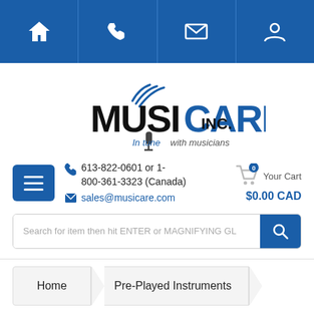[Figure (screenshot): Website header navigation bar with blue background showing home, phone, email, and user account icons]
[Figure (logo): Musicare Inc. logo with wireless signal arcs above the letter U, text reads MUSICARE INC. In tune with musicians]
613-822-0601 or 1-800-361-3323 (Canada)
sales@musicare.com
Your Cart $0.00 CAD
Search for item then hit ENTER or MAGNIFYING GL
Home
Pre-Played Instruments